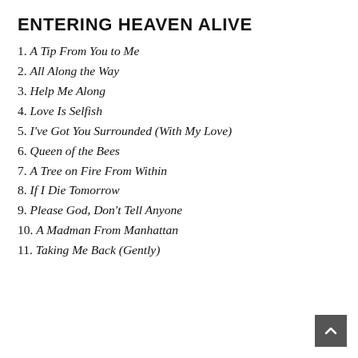ENTERING HEAVEN ALIVE
1. A Tip From You to Me
2. All Along the Way
3. Help Me Along
4. Love Is Selfish
5. I've Got You Surrounded (With My Love)
6. Queen of the Bees
7. A Tree on Fire From Within
8. If I Die Tomorrow
9. Please God, Don't Tell Anyone
10. A Madman From Manhattan
11. Taking Me Back (Gently)